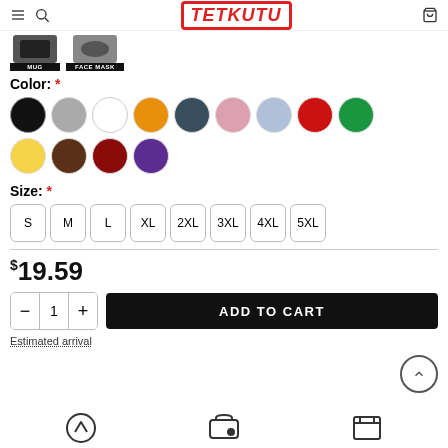TETKUTU
[Figure (screenshot): Product thumbnail images for Mug and Face Mask]
Color: *
[Figure (infographic): 13 color swatches: black, gray, white, orange, dark teal, pink, light blue, red, green, yellow, brown, dark red, purple]
Size: *
S  M  L  XL  2XL  3XL  4XL  5XL
$19.59
- 1 + ADD TO CART
Estimated arrival